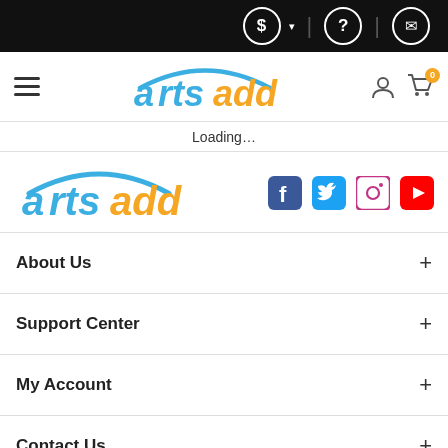$ ▾ | ? | ✉ (top navigation bar with currency, help, and email icons)
[Figure (logo): ArtsAdd website navigation bar with hamburger menu, ArtsAdd logo, user account icon, and cart icon with badge 0]
Loading…
[Figure (logo): ArtsAdd logo (large) with social media icons: Facebook, Twitter, Instagram, YouTube]
About Us +
Support Center +
My Account +
Contact Us +
User Agreement | Privacy Policy   VISA  MasterCard  Maestro